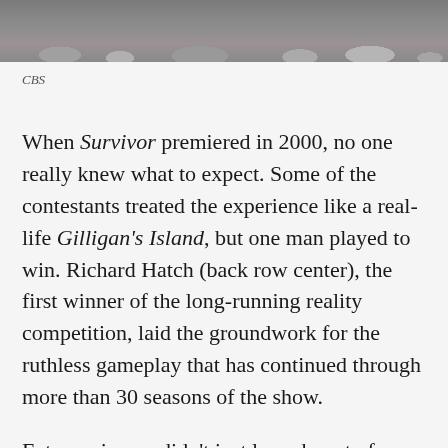[Figure (photo): Cropped photo showing people sitting on rocky terrain, partial view from waist down]
CBS
When Survivor premiered in 2000, no one really knew what to expect. Some of the contestants treated the experience like a real-life Gilligan's Island, but one man played to win. Richard Hatch (back row center), the first winner of the long-running reality competition, laid the groundwork for the ruthless gameplay that has continued through more than 30 seasons of the show.
Future winners didn't just learn how to form an alliance from Hatch; they also learned to file taxes